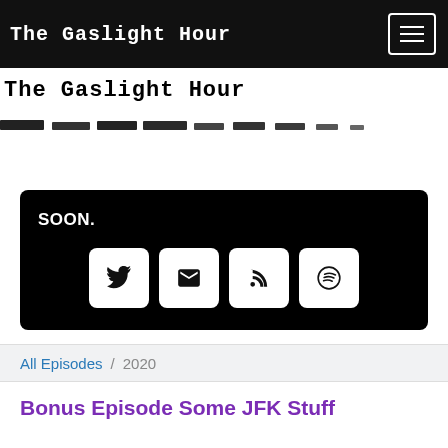The Gaslight Hour
[Figure (illustration): Decorative typewriter/stamped text marks in a row serving as a visual divider under the site header]
SOON.
[Figure (infographic): Four white rounded-square social media icon buttons on a black background: Twitter bird, envelope/email, RSS feed, Spotify]
All Episodes / 2020
Bonus Episode Some JFK Stuff